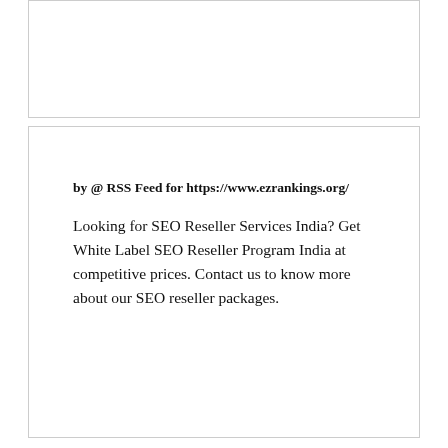by @ RSS Feed for https://www.ezrankings.org/
Looking for SEO Reseller Services India? Get White Label SEO Reseller Program India at competitive prices. Contact us to know more about our SEO reseller packages.